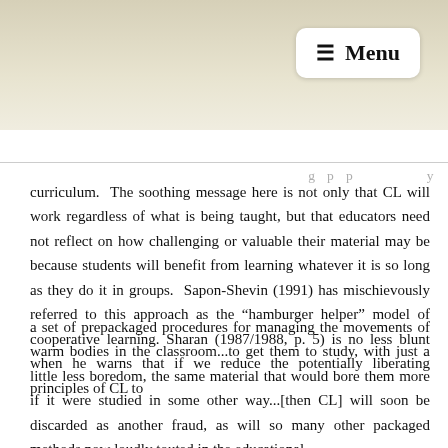Menu
curriculum.  The soothing message here is not only that CL will work regardless of what is being taught, but that educators need not reflect on how challenging or valuable their material may be because students will benefit from learning whatever it is so long as they do it in groups.  Sapon-Shevin (1991) has mischievously referred to this approach as the “hamburger helper” model of cooperative learning. Sharan (1987/1988, p. 5) is no less blunt when he warns that if we reduce the potentially liberating principles of CL to
a set of prepackaged procedures for managing the movements of warm bodies in the classroom...to get them to study, with just a little less boredom, the same material that would bore them more if it were studied in some other way...[then CL] will soon be discarded as another fraud, as will so many other packaged methods now loudly touted in the educational